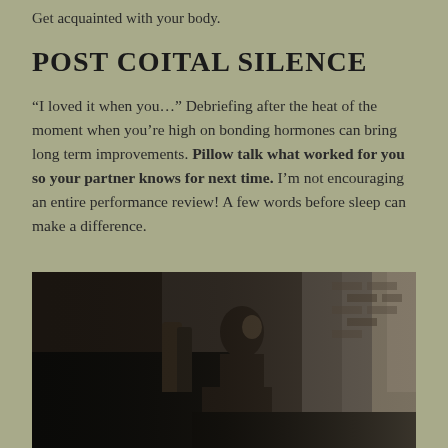Get acquainted with your body.
POST COITAL SILENCE
“I loved it when you…” Debriefing after the heat of the moment when you’re high on bonding hormones can bring long term improvements. Pillow talk what worked for you so your partner knows for next time. I’m not encouraging an entire performance review! A few words before sleep can make a difference.
[Figure (photo): Black and white photograph of a person sitting in low light near a window, appears contemplative, with brick wall visible in background]